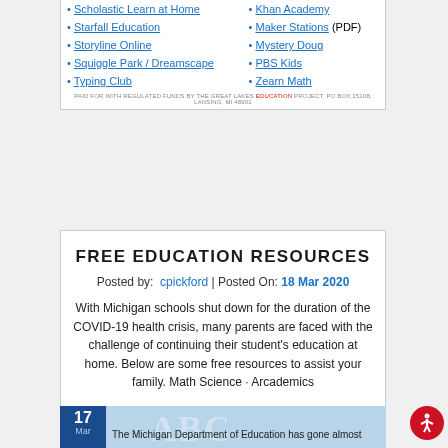Starfall Education
Maker Stations (PDF)
Storyline Online
Mystery Doug
Squiggle Park / Dreamscape
PBS Kids
Typing Club
Zearn Math
PAID FOR WITH REGULATED FUNDS BY THE GREAT LAKES EDUCATION PROJECT, PO BOX 15108, LANSING, MI 48901
FREE EDUCATION RESOURCES
Posted by: cpickford | Posted On: 18 Mar 2020
With Michigan schools shut down for the duration of the COVID-19 health crisis, many parents are faced with the challenge of continuing their student's education at home. Below are some free resources to assist your family. Math Science · Arcademics
[Figure (screenshot): Bottom card showing date 17 Mar and text: The Michigan Department of Education has gone almost... with light blue background and ABC watermark letters]